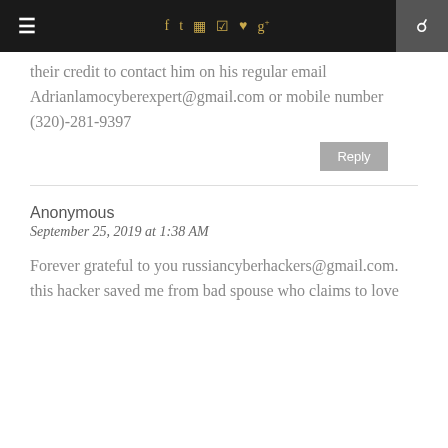≡  f  t  ◻  ⊕  ♥  g+  🔍
their credit to contact him on his regular email Adrianlamocyberexpert@gmail.com or mobile number (320)-281-9397
Reply
Anonymous
September 25, 2019 at 1:38 AM
Forever grateful to you russiancyberhackers@gmail.com. this hacker saved me from bad spouse who claims to love